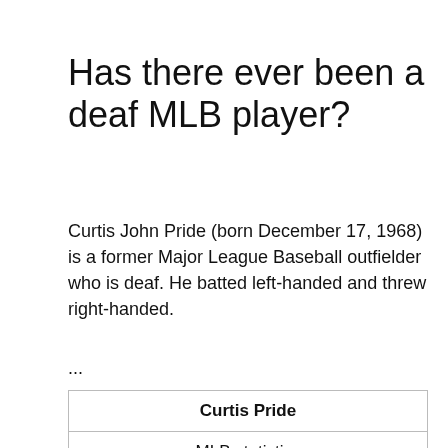Has there ever been a deaf MLB player?
Curtis John Pride (born December 17, 1968) is a former Major League Baseball outfielder who is deaf. He batted left-handed and threw right-handed.
...
| Curtis Pride |
| --- |
| MLB statistics |  |
| Batting average | .250 |
| Home runs | 20 |